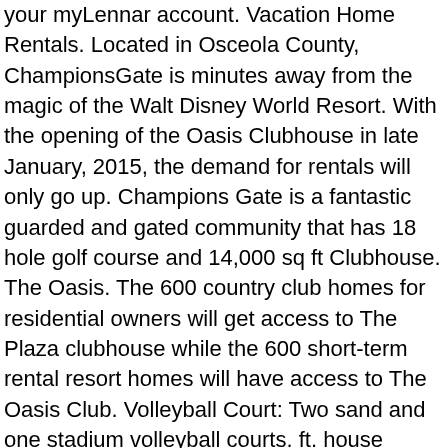your myLennar account. Vacation Home Rentals. Located in Osceola County, ChampionsGate is minutes away from the magic of the Walt Disney World Resort. With the opening of the Oasis Clubhouse in late January, 2015, the demand for rentals will only go up. Champions Gate is a fantastic guarded and gated community that has 18 hole golf course and 14,000 sq ft Clubhouse. The Oasis. The 600 country club homes for residential owners will get access to The Plaza clubhouse while the 600 short-term rental resort homes will have access to The Oasis Club. Volleyball Court: Two sand and one stadium volleyball courts. ft. house located at 1412 Evans Ln, Placentia, CA 92870 sold for $720,000 on Nov 27, 2018. Copyright © 2021 Lennar Corporation. Homes for Sale in Champions Gate Nestled in the heart of Central Florida, just off the I-4 lies the luxurious resort community of Champions Gate. ChampionsGate is so close to everything, while still being nestles in a country setting surrounded by orange blossoms. An inventory home that is either under construction or completed. Aerobics Studio: Large aerobics studio located in the clubhouse. Sun. This exclusive clubhouse